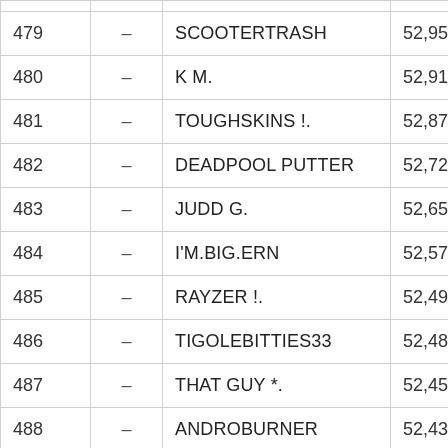| Rank |  | Name | Score |
| --- | --- | --- | --- |
| 479 | – | SCOOTERTRASH | 52,95 |
| 480 | – | K M. | 52,91 |
| 481 | – | TOUGHSKINS !. | 52,87 |
| 482 | – | DEADPOOL PUTTER | 52,72 |
| 483 | – | JUDD G. | 52,65 |
| 484 | – | I'M.BIG.ERN | 52,57 |
| 485 | – | RAYZER !. | 52,49 |
| 486 | – | TIGOLEBITTIES33 | 52,48 |
| 487 | – | THAT GUY *. | 52,45 |
| 488 | – | ANDROBURNER | 52,43 |